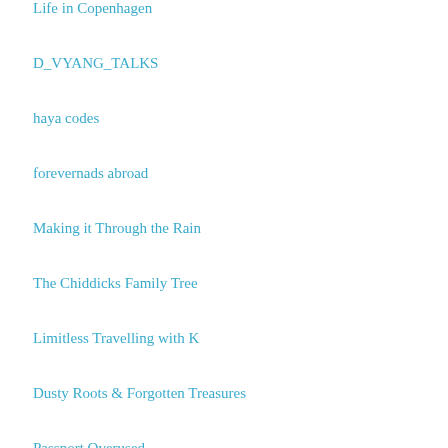Life in Copenhagen
D_VYANG_TALKS
haya codes
forevernads abroad
Making it Through the Rain
The Chiddicks Family Tree
Limitless Travelling with K
Dusty Roots & Forgotten Treasures
Passport Overused
wake up and smell the humans
The Life in My Years
Travels in Finland and abroad
DanVenture Travels
My Meals are on Wheels